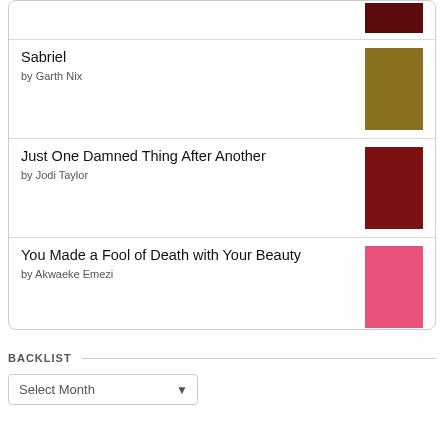[Figure (other): Book cover thumbnail at top of list (partially visible, red/dark cover)]
Sabriel by Garth Nix
Just One Damned Thing After Another by Jodi Taylor
You Made a Fool of Death with Your Beauty by Akwaeke Emezi
[Figure (logo): Goodreads logo button with rounded rectangle border]
BACKLIST
Select Month dropdown